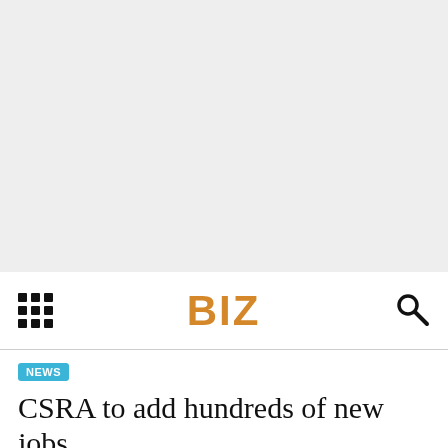[Figure (other): Gray placeholder/advertisement area occupying the top portion of the page]
BIZ
NEWS
CSRA to add hundreds of new jobs